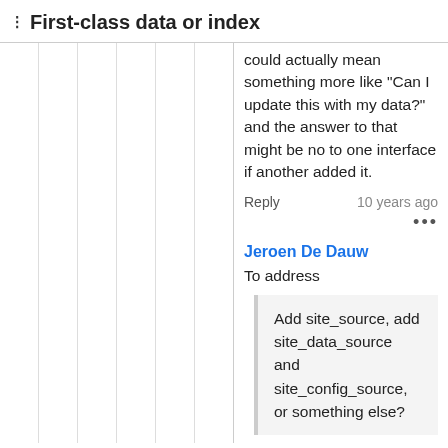First-class data or index
could actually mean something more like "Can I update this with my data?" and the answer to that might be no to one interface if another added it.
Reply   10 years ago
...
Jeroen De Dauw
To address
Add site_source, add site_data_source and site_config_source, or something else?